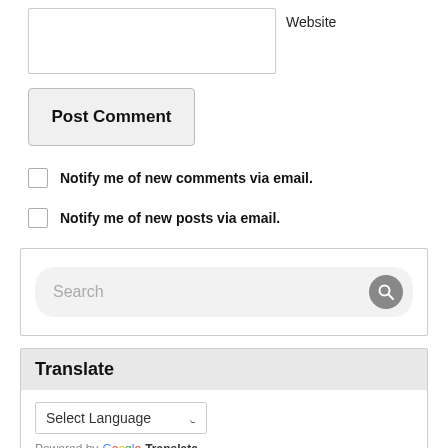Website
Post Comment
Notify me of new comments via email.
Notify me of new posts via email.
Search
Translate
Select Language
Powered by Google Translate